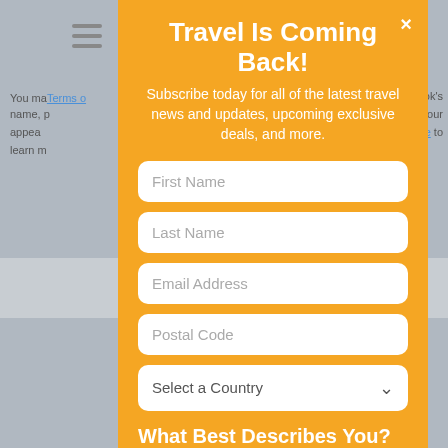[Figure (screenshot): Background webpage content partially visible behind modal, showing navigation icon and partial text about Terms, name, and a 'here' link]
Travel Is Coming Back!
Subscribe today for all of the latest travel news and updates, upcoming exclusive deals, and more.
First Name
Last Name
Email Address
Postal Code
Select a Country
What Best Describes You?
Travel Agent
Travel Supplier
Traveler